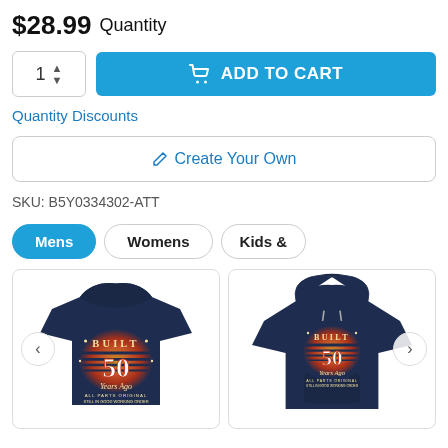$28.99 Quantity
ADD TO CART
Quantity Discounts
✏ Create Your Own
SKU: B5Y0334302-ATT
Mens | Womens | Kids &
[Figure (photo): Navy t-shirt with 'Built 50 Years Ago' vintage retro sunset graphic design]
[Figure (photo): Navy hoodie with 'Built 50 Years Ago' vintage retro sunset graphic design]